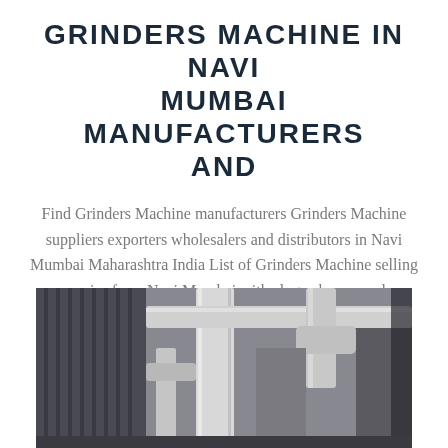GRINDERS MACHINE IN NAVI MUMBAI MANUFACTURERS AND
Find Grinders Machine manufacturers Grinders Machine suppliers exporters wholesalers and distributors in Navi Mumbai Maharashtra India List of Grinders Machine selling companies from Navi Mumbai with alogs phone numbers addresses amp prices for Grinders Machine
[Figure (photo): Industrial machinery photo showing white pipes and ductwork inside a large warehouse or factory building with corrugated metal walls.]